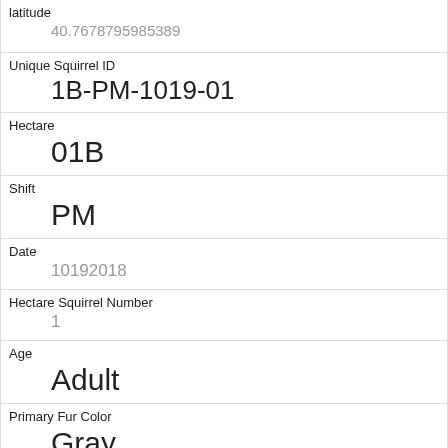| latitude | 40.7678795985389 |
| Unique Squirrel ID | 1B-PM-1019-01 |
| Hectare | 01B |
| Shift | PM |
| Date | 10192018 |
| Hectare Squirrel Number | 1 |
| Age | Adult |
| Primary Fur Color | Gray |
| Highlight Fur Color | White |
| Combination of Primary and Highlight Color | Gray+White |